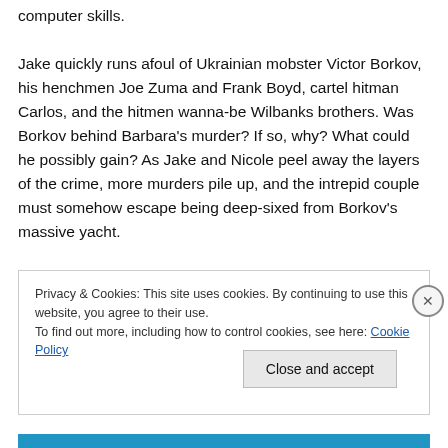computer skills.

Jake quickly runs afoul of Ukrainian mobster Victor Borkov, his henchmen Joe Zuma and Frank Boyd, cartel hitman Carlos, and the hitmen wanna-be Wilbanks brothers. Was Borkov behind Barbara's murder? If so, why? What could he possibly gain? As Jake and Nicole peel away the layers of the crime, more murders pile up, and the intrepid couple must somehow escape being deep-sixed from Borkov's massive yacht.
Privacy & Cookies: This site uses cookies. By continuing to use this website, you agree to their use.
To find out more, including how to control cookies, see here: Cookie Policy